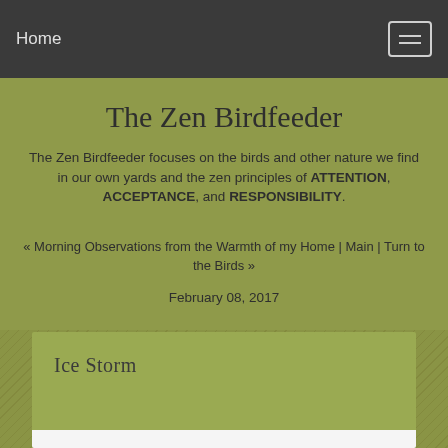Home
The Zen Birdfeeder
The Zen Birdfeeder focuses on the birds and other nature we find in our own yards and the zen principles of ATTENTION, ACCEPTANCE, and RESPONSIBILITY.
« Morning Observations from the Warmth of my Home | Main | Turn to the Birds »
February 08, 2017
Ice Storm